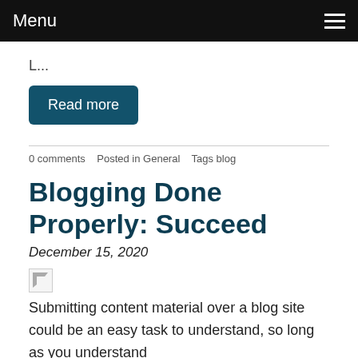Menu
L...
Read more
0 comments   Posted in General   Tags blog
Blogging Done Properly: Succeed
December 15, 2020
[Figure (photo): Broken image placeholder]
Submitting content material over a blog site could be an easy task to understand, so long as you understand